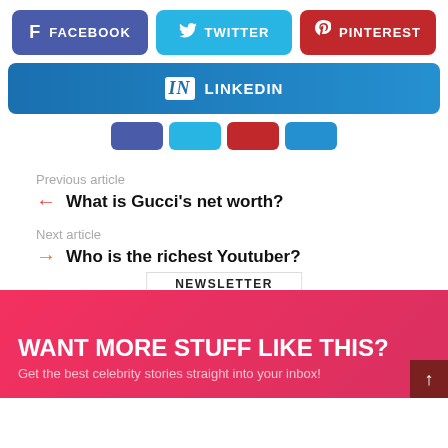[Figure (infographic): Social media share buttons row: Facebook (blue-purple), Twitter (cyan), Pinterest (red)]
[Figure (infographic): LinkedIn share button (blue gradient), full width]
[Figure (infographic): Four small social share mini-buttons: Facebook, Twitter, Pinterest, LinkedIn]
Previous article
What is Gucci's net worth?
Next article
Who is the richest Youtuber?
NEWSLETTER
WANT MORE STUFF LIKE THIS?
Get the best celebrity stories straight into your inbox!